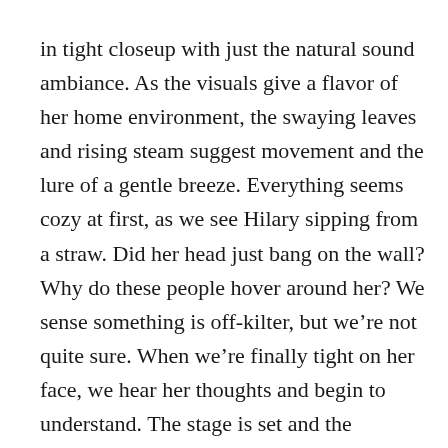in tight closeup with just the natural sound ambiance. As the visuals give a flavor of her home environment, the swaying leaves and rising steam suggest movement and the lure of a gentle breeze. Everything seems cozy at first, as we see Hilary sipping from a straw. Did her head just bang on the wall? Why do these people hover around her? We sense something is off-kilter, but we’re not quite sure. When we’re finally tight on her face, we hear her thoughts and begin to understand. The stage is set and the filmmakers have peaked our curiosity.
I especially like the way the visuals reveal part of the action, but conceal as well. They add mystery and preserve dignity in a gentle approach that’s lyrical and